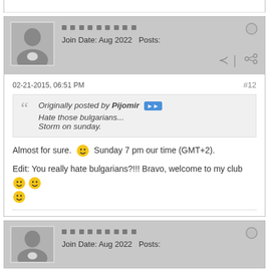[Figure (other): Forum post top partial — white content area bottom border]
Join Date: Aug 2022   Posts:
02-21-2015, 06:51 PM   #12
Originally posted by Pijomir
Hate those bulgarians...
Storm on sunday.
Almost for sure. 🙂 Sunday 7 pm our time (GMT+2).
Edit: You really hate bulgarians?!!! Bravo, welcome to my club 🙂 🙂 🙂
Join Date: Aug 2022   Posts: